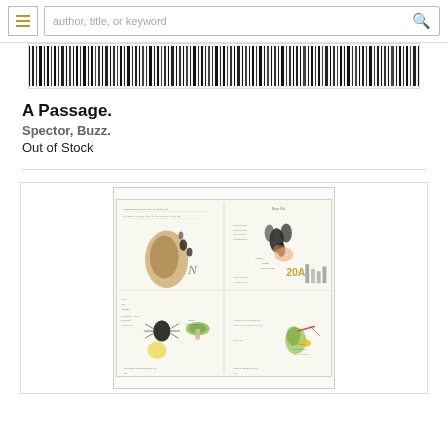[Figure (screenshot): Website header with hamburger menu icon and search bar with placeholder text 'author, title, or keyword' and a search (magnifying glass) icon]
[Figure (illustration): Barcode/book cover image strip showing black and white vertical lines resembling a barcode or stylized text]
A Passage.
Spector, Buzz.
Out of Stock
[Figure (illustration): Illustrated journal/sketchbook page spread with handwritten notes and drawings of natural objects including birds, plants, mushrooms, and organic forms with annotations]